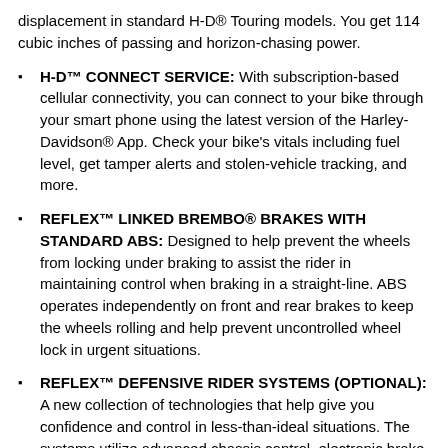displacement in standard H-D® Touring models. You get 114 cubic inches of passing and horizon-chasing power.
H-D™ CONNECT SERVICE: With subscription-based cellular connectivity, you can connect to your bike through your smart phone using the latest version of the Harley-Davidson® App. Check your bike's vitals including fuel level, get tamper alerts and stolen-vehicle tracking, and more.
REFLEX™ LINKED BREMBO® BRAKES WITH STANDARD ABS: Designed to help prevent the wheels from locking under braking to assist the rider in maintaining control when braking in a straight-line. ABS operates independently on front and rear brakes to keep the wheels rolling and help prevent uncontrolled wheel lock in urgent situations.
REFLEX™ DEFENSIVE RIDER SYSTEMS (OPTIONAL): A new collection of technologies that help give you confidence and control in less-than-ideal situations. The systems utilize advanced chassis control, electronic brake control and powertrain technology to assist you with accelerating and braking in a straight